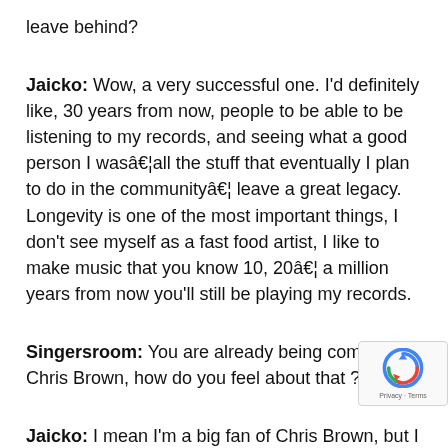leave behind?
Jaicko: Wow, a very successful one. I'd definitely like, 30 years from now, people to be able to be listening to my records, and seeing what a good person I was…all the stuff that eventually I plan to do in the community… leave a great legacy. Longevity is one of the most important things, I don't see myself as a fast food artist, I like to make music that you know 10, 20… a million years from now you'll still be playing my records.
Singersroom: You are already being compared to Chris Brown, how do you feel about that ?
Jaicko: I mean I'm a big fan of Chris Brown, but I can't